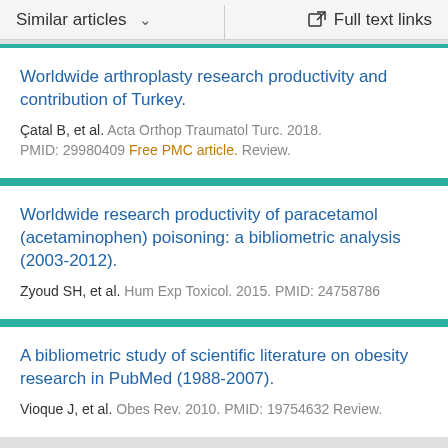Similar articles   ∨   Full text links
Worldwide arthroplasty research productivity and contribution of Turkey.
Çatal B, et al. Acta Orthop Traumatol Turc. 2018.
PMID: 29980409 Free PMC article. Review.
Worldwide research productivity of paracetamol (acetaminophen) poisoning: a bibliometric analysis (2003-2012).
Zyoud SH, et al. Hum Exp Toxicol. 2015. PMID: 24758786
A bibliometric study of scientific literature on obesity research in PubMed (1988-2007).
Vioque J, et al. Obes Rev. 2010. PMID: 19754632 Review.